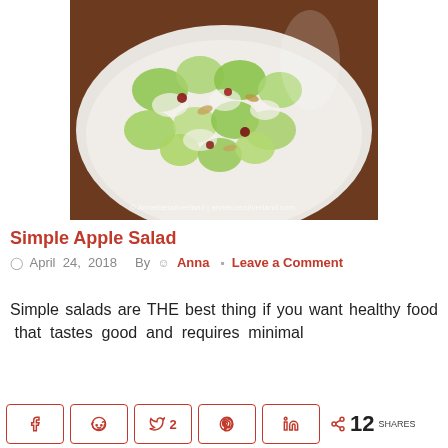[Figure (photo): A white bowl containing a fresh apple salad with chopped green apples, lettuce, cranberries, almonds, and creamy dressing. Watermark: © Anneloessilverland | anneloessilverland.com]
Simple Apple Salad
April 24, 2018   By   Anna   Leave a Comment
Simple salads are THE best thing if you want healthy food that tastes good and requires minimal
Social share bar: Facebook, Reddit, Twitter 2, Pinterest, LinkedIn, < 12 SHARES